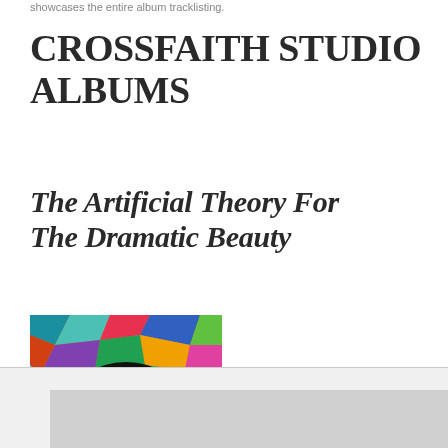showcases the entire album tracklisting.
CROSSFAITH STUDIO ALBUMS
The Artificial Theory For The Dramatic Beauty
[Figure (photo): Album cover art for 'The Artificial Theory For The Dramatic Beauty' by Crossfaith — colorful abstract mosaic background with a large eye illustration in the center, text 'CROSSFAITH' visible on the cover.]